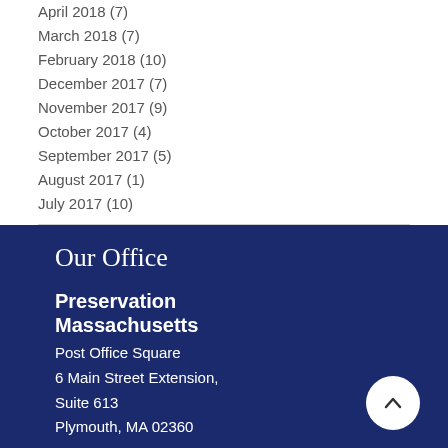April 2018 (7)
March 2018 (7)
February 2018 (10)
December 2017 (7)
November 2017 (9)
October 2017 (4)
September 2017 (5)
August 2017 (1)
July 2017 (10)
Our Office
Preservation Massachusetts
Post Office Square
6 Main Street Extension,
Suite 613
Plymouth, MA 02360
Phone  Email  Facebook